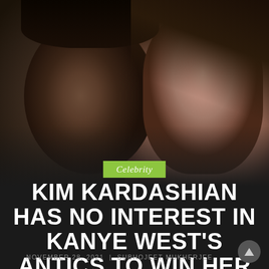[Figure (photo): Photo of Kanye West on the left and Kim Kardashian on the right, both with serious expressions, against a dark background]
Celebrity
KIM KARDASHIAN HAS NO INTEREST IN KANYE WEST'S ANTICS TO WIN HER BACK
NOVEMBER 28, 2021 | SUBHOJEET MUKHERJEE